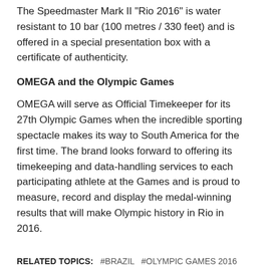The Speedmaster Mark II "Rio 2016" is water resistant to 10 bar (100 metres / 330 feet) and is offered in a special presentation box with a certificate of authenticity.
OMEGA and the Olympic Games
OMEGA will serve as Official Timekeeper for its 27th Olympic Games when the incredible sporting spectacle makes its way to South America for the first time. The brand looks forward to offering its timekeeping and data-handling services to each participating athlete at the Games and is proud to measure, record and display the medal-winning results that will make Olympic history in Rio in 2016.
RELATED TOPICS:   #BRAZIL   #OLYMPIC GAMES 2016   #OMEGA   #RIO   #SPEEDMASTER MARK II "RIO 2016"
UP NEXT